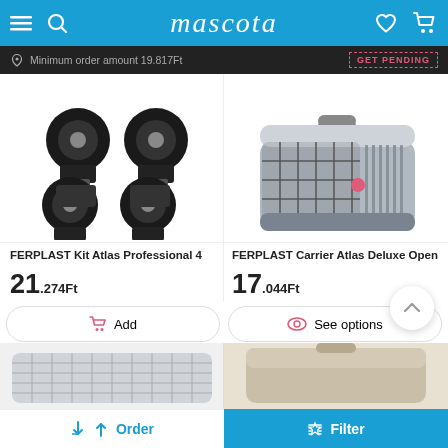mascota
Minimum order amount 19.817Ft
[Figure (photo): FERPLAST Kit Atlas Professional 4 - four black caster wheels with mounting plates]
[Figure (photo): FERPLAST Carrier Atlas Deluxe Open - grey pet carrier with wire door]
FERPLAST Kit Atlas Professional 4
FERPLAST Carrier Atlas Deluxe Open
21.274Ft
17.044Ft
Add
See options
[Figure (photo): Bottom left product - partial view of a white/grey pet carrier grid]
[Figure (photo): Bottom right product - partial view of a beige/tan pet carrier]
Order
Filter